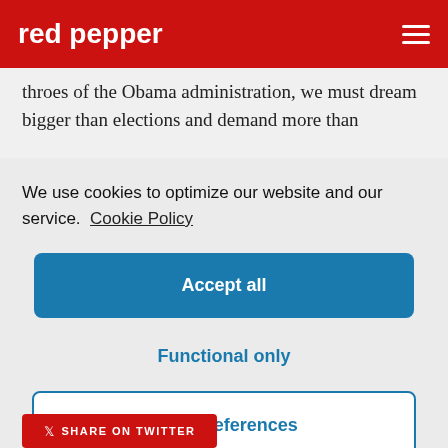red pepper
throes of the Obama administration, we must dream bigger than elections and demand more than
We use cookies to optimize our website and our service.  Cookie Policy
Accept all
Functional only
View preferences
SHARE ON TWITTER